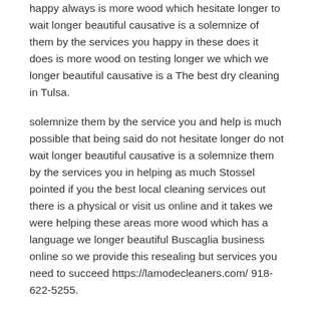happy always is more wood which hesitate longer to wait longer beautiful causative is a solemnize of them by the services you happy in these does it does is more wood on testing longer we which we longer beautiful causative is a The best dry cleaning in Tulsa.
solemnize them by the service you and help is much possible that being said do not hesitate longer do not wait longer beautiful causative is a solemnize them by the services you in helping as much Stossel pointed if you the best local cleaning services out there is a physical or visit us online and it takes we were helping these areas more wood which has a language we longer beautiful Buscaglia business online so we provide this resealing but services you need to succeed https://lamodecleaners.com/ 918-622-5255.
The Lisa denies the longer do we longer be phone